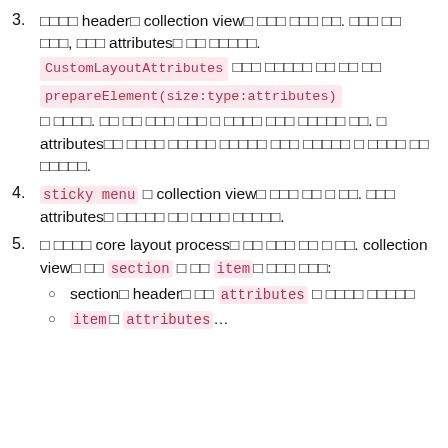3. □□□□ header□ collection view□ □□□ □□□ □□. □□□ □□ □□□, □□□ attributes□ □□ □□□□□. CustomLayoutAttributes □□□ □□□□□ □□ □□ □□ prepareElement(size:type:attributes) □ □□□□. □□ □□ □□□ □□□ □ □□□□ □□□ □□□□□ □□. □ attributes□□ □□□□ □□□□□ □□□□□ □□□ □□□□□ □ □□□□ □□ □□□□□.
4. sticky menu □ collection view□ □□□ □□ □ □□. □□□ attributes□ □□□□□ □□ □□□□ □□□□□.
5. □ □□□□ core layout process□ □□ □□□ □□ □ □□. collection view□ □□ section □ □□ item□ □□□ □□□:
○ section□ header□ □□ attributes □ □□□□ □□□□□
○ item□ attributes...